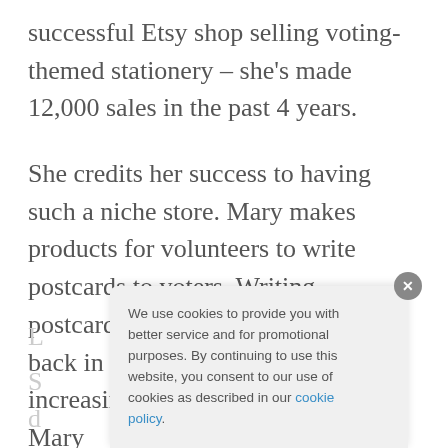successful Etsy shop selling voting-themed stationery – she's made 12,000 sales in the past 4 years.
She credits her success to having such a niche store. Mary makes products for volunteers to write postcards to voters. Writing postcards to voters was a new idea back in 2017 that has become increasingly popular, which is how Mary
We use cookies to provide you with better service and for promotional purposes. By continuing to use this website, you consent to our use of cookies as described in our cookie policy.